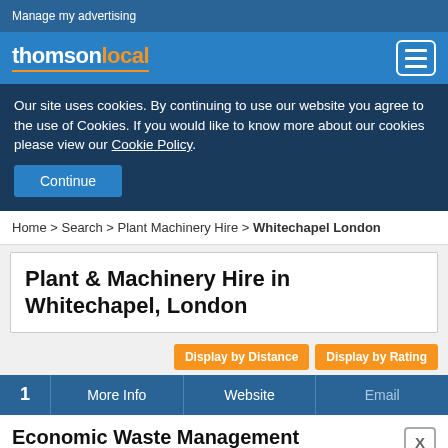Manage my advertising
[Figure (logo): Thomson Local logo with hamburger menu icon]
Our site uses cookies. By continuing to use our website you agree to the use of Cookies. If you would like to know more about our cookies please view our Cookie Policy.
Continue
Home > Search > Plant Machinery Hire > Whitechapel London
Plant & Machinery Hire in Whitechapel, London
Display by Distance   Display by Rating
1   More Info   Website   Email
Economic Waste Management